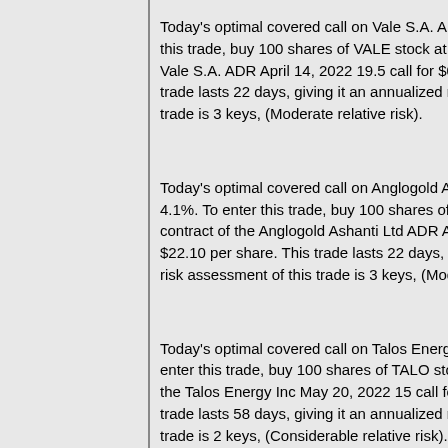Today's optimal covered call on Vale S.A. ADR has an annualized return rate for this trade, buy 100 shares of VALE stock at $19.56 per share. Sell 1 contract of the Vale S.A. ADR April 14, 2022 19.5 call for $0.90 for a total premium of $90. This trade lasts 22 days, giving it an annualized return rate. The relative risk assessment of this trade is 3 keys, (Moderate relative risk).
Today's optimal covered call on Anglogold Ashanti Ltd ADR has an annualized return rate of 4.1%. To enter this trade, buy 100 shares of AU stock. Sell 1 contract of the Anglogold Ashanti Ltd ADR April 14, 2022 call for $22.10 per share. This trade lasts 22 days, giving it an annualized return rate. The relative risk assessment of this trade is 3 keys, (Moderate relative risk).
Today's optimal covered call on Talos Energy Inc has an annualized return rate. To enter this trade, buy 100 shares of TALO stock at $15 per share. Sell 1 contract of the Talos Energy Inc May 20, 2022 15 call for $1.90 for a total premium. This trade lasts 58 days, giving it an annualized return rate. The relative risk assessment of this trade is 2 keys, (Considerable relative risk).